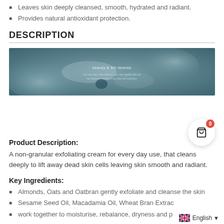Leaves skin deeply cleansed, smooth, hydrated and radiant.
Provides natural antioxidant protection.
DESCRIPTION
[Figure (photo): Product image showing a smooth cream texture on a teal/grey background with small text overlay reading 'beauty & bill desires' and a subtitle.]
Product Description: A non-granular exfoliating cream for every day use, that cleans deeply to lift away dead skin cells leaving skin smooth and radiant.
Key Ingredients:
Almonds, Oats and Oatbran gently exfoliate and cleanse the skin
Sesame Seed Oil, Macadamia Oil, Wheat Bran Extrac...
work together to moisturise, rebalance, dryness and p...